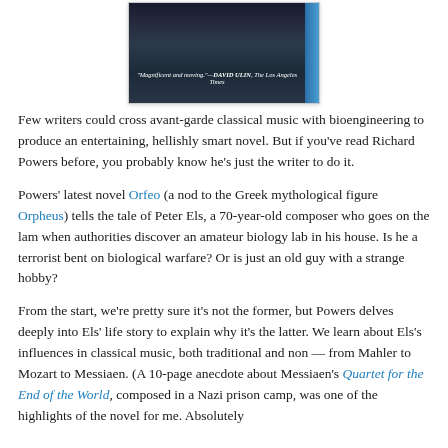[Figure (photo): Book cover image showing a dark, atmospheric scene with the text '"Magnificent and moving." —DAVID ULIN, The Los Angeles Times' and a blue spine on the right side.]
Few writers could cross avant-garde classical music with bioengineering to produce an entertaining, hellishly smart novel. But if you've read Richard Powers before, you probably know he's just the writer to do it.
Powers' latest novel Orfeo (a nod to the Greek mythological figure Orpheus) tells the tale of Peter Els, a 70-year-old composer who goes on the lam when authorities discover an amateur biology lab in his house. Is he a terrorist bent on biological warfare? Or is just an old guy with a strange hobby?
From the start, we're pretty sure it's not the former, but Powers delves deeply into Els' life story to explain why it's the latter. We learn about Els's influences in classical music, both traditional and non — from Mahler to Mozart to Messiaen. (A 10-page anecdote about Messiaen's Quartet for the End of the World, composed in a Nazi prison camp, was one of the highlights of the novel for me. Absolutely